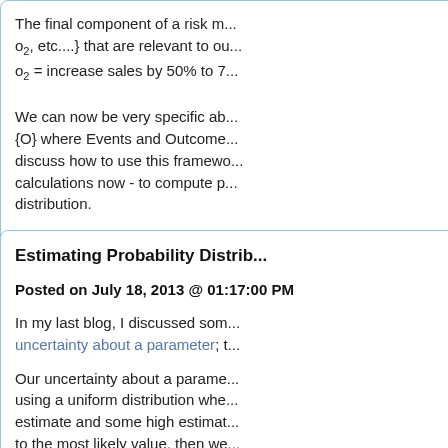The final component of a risk m... o2, etc....} that are relevant to ou... o2 = increase sales by 50% to 7...
We can now be very specific ab... {O} where Events and Outcome... discuss how to use this framewo... calculations now - to compute p... distribution.
Permalink
Estimating Probability Distrib...
Posted on July 18, 2013 @ 01:17:00 PM
In my last blog, I discussed som... uncertainty about a parameter; t...
Our uncertainty about a parame... using a uniform distribution whe... estimate and some high estimat... to the most likely value, then we... uncertainty about the price of ga...
There are other simple techniqu... uncertainty about a parameter. I... "Merit Scoring".